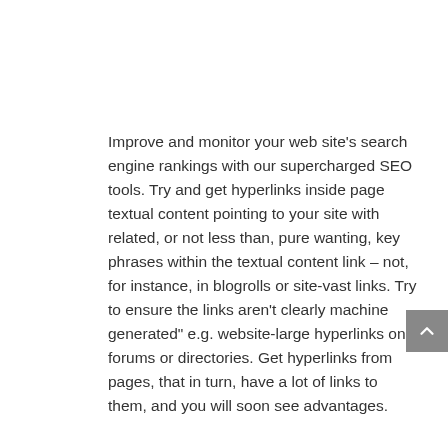Improve and monitor your web site's search engine rankings with our supercharged SEO tools. Try and get hyperlinks inside page textual content pointing to your site with related, or not less than, pure wanting, key phrases within the textual content link – not, for instance, in blogrolls or site-vast links. Try to ensure the links aren't clearly machine generated" e.g. website-large hyperlinks on forums or directories. Get hyperlinks from pages, that in turn, have a lot of links to them, and you will soon see advantages.
Quality of your content material: Talking of high-high quality content , it is advisable to create it if you want to receive high-high quality links. You might want to be